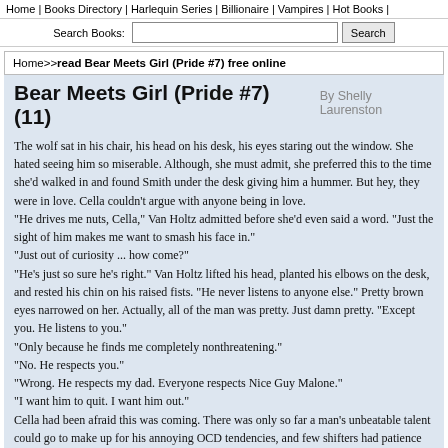Home | Books Directory | Harlequin Series | Billionaire | Vampires | Hot Books |
Search Books: [input] Search
Home>>read Bear Meets Girl (Pride #7) free online
Bear Meets Girl (Pride #7)(11)
By Shelly Laurenston
The wolf sat in his chair, his head on his desk, his eyes staring out the window. She hated seeing him so miserable. Although, she must admit, she preferred this to the time she'd walked in and found Smith under the desk giving him a hummer. But hey, they were in love. Cella couldn't argue with anyone being in love.
"He drives me nuts, Cella," Van Holtz admitted before she'd even said a word. "Just the sight of him makes me want to smash his face in."
"Just out of curiosity ... how come?"
"He's just so sure he's right." Van Holtz lifted his head, planted his elbows on the desk, and rested his chin on his raised fists. "He never listens to anyone else." Pretty brown eyes narrowed on her. Actually, all of the man was pretty. Just damn pretty. "Except you. He listens to you."
"Only because he finds me completely nonthreatening."
"No. He respects you."
"Wrong. He respects my dad. Everyone respects Nice Guy Malone."
"I want him to quit. I want him out."
Cella had been afraid this was coming. There was only so far a man's unbeatable talent could go to make up for his annoying OCD tendencies, and few shifters had patience